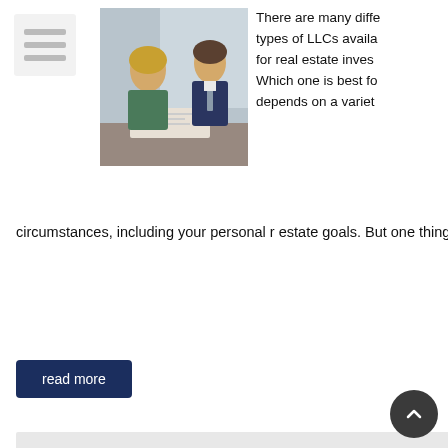[Figure (logo): Menu/list icon — three horizontal lines on light background]
[Figure (photo): Two people reviewing documents at a table, a woman and a man in a suit]
There are many diffe types of LLCs availa for real estate inves Which one is best fo depends on a variet circumstances, including your personal r estate goals. But one thing many investo initially overlook is that each [...]
read more
[Figure (other): Light gray divider bar]
Seven Secrets To Successful Single-Family Rental Real